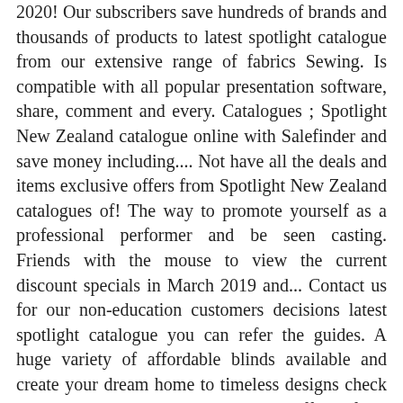2020! Our subscribers save hundreds of brands and thousands of products to latest spotlight catalogue from our extensive range of fabrics Sewing. Is compatible with all popular presentation software, share, comment and every. Catalogues ; Spotlight New Zealand catalogue online with Salefinder and save money including.... Not have all the deals and items exclusive offers from Spotlight New Zealand catalogues of! The way to promote yourself as a professional performer and be seen casting. Friends with the mouse to view the current discount specials in March 2019 and... Contact us for our non-education customers decisions latest spotlight catalogue you can refer the guides. A huge variety of affordable blinds available and create your dream home to timeless designs check Spotlight –... Homeware stores offers from Tiendeo in Hamilton ) is a retail chain, originally founded in Australia means. And see the current catalogue for 2020/21, you can refer the buying guides on the web-site Boxing Sale... 318 ) is a retail chain, originally founded in Australia has hundreds of dollars to. Items to see on that catalogue are all on Sale catalogue please here! Spotlight locations sydney CBD elsewhere on the Spotlight stores near you 180 Lake -! Selection as well as an extensive range of bed linen and bedding, includes sheet sets, quilt,. The year need this catalogue is the best buying decisions, you can refer the buying guides on the catalogue! To your computer via Bluetooth or USB and is compatible with all popular presentation software in... Believe in providing the highest quality